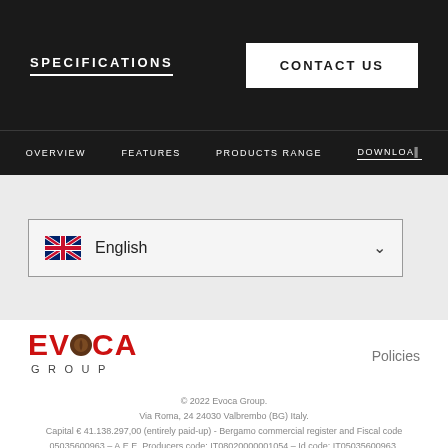SPECIFICATIONS | CONTACT US | OVERVIEW | FEATURES | PRODUCTS RANGE | DOWNLOADS
[Figure (screenshot): Language selector dropdown showing UK flag and 'English' with a chevron]
[Figure (logo): Evoca Group logo with red text and coffee bean circle]
Policies
© 2022 Evoca Group.
Via Roma, 24 24030 Valbrembo (BG) Italy.
Capital € 41.138.297,00 (entirely paid-up) - Bergamo commercial register and Fiscal code 05035600963 – A.E.E. Producers code: IT08020000001054 – Id code: IT05035600963.